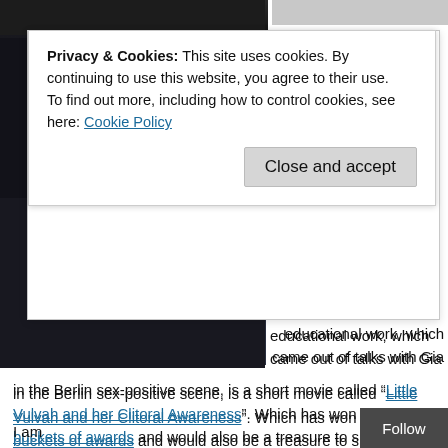[Figure (photo): Dark photo strip at top left, partially visible]
Privacy & Cookies: This site uses cookies. By continuing to use this website, you agree to their use.
To find out more, including how to control cookies, see here: Cookie Policy
Close and accept
[Figure (photo): Tall dark photo on left side of page]
educational work, which came out of talks with Gia in the Berlin sex-positive scene, is a short movie called “Little Vulvah and her Clitoral Awareness”. Which has won just buckets of awards and would also be a treasure to show your young child. You can watch the trailer and buy it here.
The vibe at my first Sexclusivitäten event was cozy and warm, and everyone was friendly. My drawing was enjoyed and supported. It was like the first time I went to SF Citadel and met August; I felt so at home. I got stickers!
I am
Follow